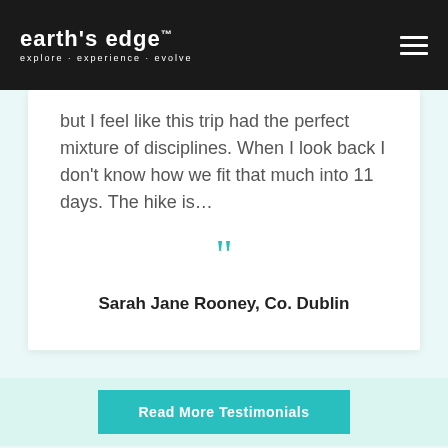earth's edge™ explore · experience · evolve
but I feel like this trip had the perfect mixture of disciplines. When I look back I don't know how we fit that much into 11 days. The hike is…
Sarah Jane Rooney, Co. Dublin
Read More Testimonials